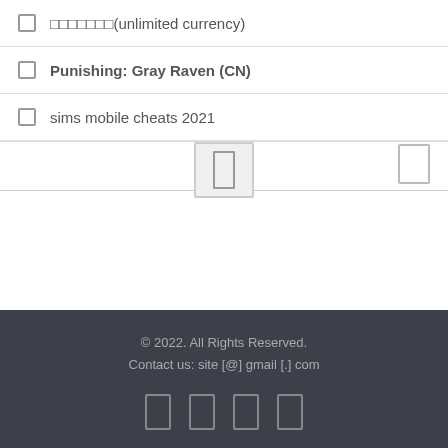□□□□□□□(unlimited currency)
Punishing: Gray Raven (CN)
sims mobile cheats 2021
© 2022. All Rights Reserved.
Contact us: site [@] gmail [.] com